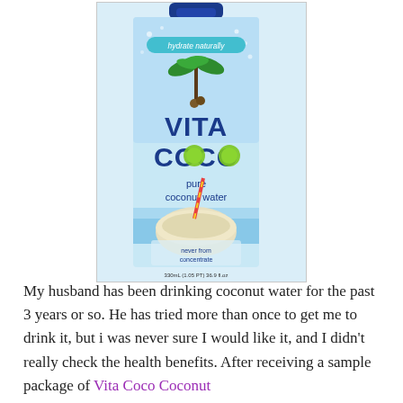[Figure (photo): Vita Coco pure coconut water 330mL tetra pak carton with blue cap, showing palm trees, coconut slices, text 'hydrate naturally', 'VITA COCO pure coconut water', 'never from concentrate']
My husband has been drinking coconut water for the past 3 years or so. He has tried more than once to get me to drink it, but i was never sure I would like it, and I didn't really check the health benefits. After receiving a sample package of Vita Coco Coconut